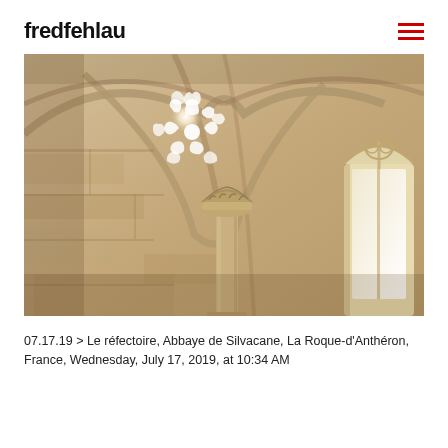fredfehlau
[Figure (photo): Interior of the refectory at Abbaye de Silvacane, La Roque-d'Anthéron, France. Stone vaulted ceiling with Gothic arches, a stone column with carved capital, and a Gothic window on the right side. A flower-shaped rose window admits bright sunlight creating a luminous glow. Warm beige stone walls and ceiling.]
07.17.19 > Le réfectoire, Abbaye de Silvacane, La Roque-d'Anthéron, France, Wednesday, July 17, 2019, at 10:34 AM